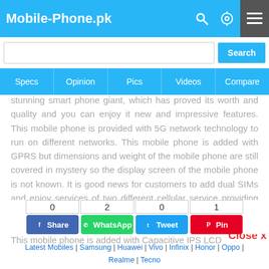Mobile-Phone.pk
stunning smart phone giant, which has proved its worth and quality and you can enjoy it new and impressive features. This mobile phone is provided with 5G network technology to run on different networks. This mobile phone is added with GPRS but dimensions and weight of the mobile phone are still covered in mystery so the display screen of the mobile phone is not known. It is good news for customers to add dual SIMs and enjoy services of two different cellular service providing companies.
This mobile phone is added with Capacitive IPS LCD
Close x
0  2  0  1
Share  WhatsApp  Tweet  Pin
Latest Mobiles | Samsung | Huawei | Vivo | Infinix | Honor | Oppo | Realme | Tecno